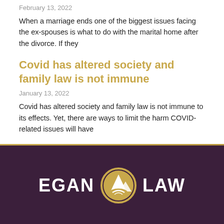February 13, 2022
When a marriage ends one of the biggest issues facing the ex-spouses is what to do with the marital home after the divorce. If they
Covid has altered society and family law is not immune
January 13, 2022
Covid has altered society and family law is not immune to its effects. Yet, there are ways to limit the harm COVID-related issues will have
[Figure (logo): Egan Law logo with mountain/road emblem in gold circle between EGAN and LAW text in white on dark purple background]